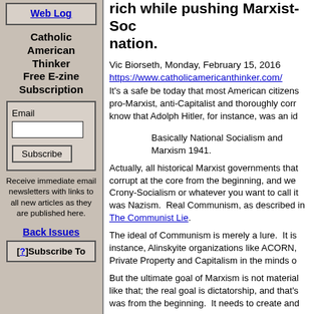Web Log
Catholic American Thinker Free E-zine Subscription
Email [input] Subscribe
Receive immediate email newsletters with links to all new articles as they are published here.
Back Issues
[?]Subscribe To
rich while pushing Marxist-Soc nation.
Vic Biorseth, Monday, February 15, 2016
https://www.catholicamericanthinker.com/
It's a safe be today that most American citizens pro-Marxist, anti-Capitalist and thoroughly corr know that Adolph Hitler, for instance, was an id
Basically National Socialism and Marxism 1941.
Actually, all historical Marxist governments that corrupt at the core from the beginning, and we Crony-Socialism or whatever you want to call it was Nazism. Real Communism, as described in The Communist Lie.
The ideal of Communism is merely a lure. It is instance, Alinskyite organizations like ACORN, Private Property and Capitalism in the minds o
But the ultimate goal of Marxism is not material like that; the real goal is dictatorship, and that's was from the beginning. It needs to create and